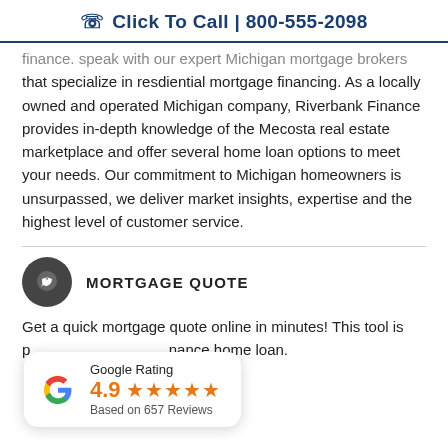☎ Click To Call | 800-555-2098
finance. Speak with our expert Michigan mortgage brokers that specialize in resdiential mortgage financing. As a locally owned and operated Michigan company, Riverbank Finance provides in-depth knowledge of the Mecosta real estate marketplace and offer several home loan options to meet your needs. Our commitment to Michigan homeowners is unsurpassed, we deliver market insights, expertise and the highest level of customer service.
MORTGAGE QUOTE
Get a quick mortgage quote online in minutes! This tool is p... finance home loan.
[Figure (other): Google Rating widget showing 4.9 stars based on 657 Reviews]